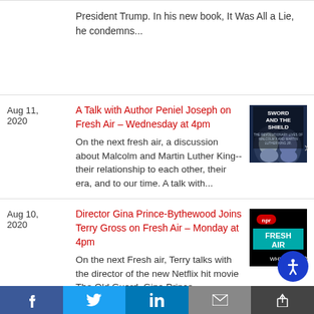President Trump. In his new book, It Was All a Lie, he condemns...
Aug 11, 2020
A Talk with Author Peniel Joseph on Fresh Air – Wednesday at 4pm
On the next fresh air, a discussion about Malcolm and Martin Luther King--their relationship to each other, their era, and to our time. A talk with...
[Figure (photo): Book cover showing 'Sword and the Shield' with two men's faces]
Aug 10, 2020
Director Gina Prince-Bythewood Joins Terry Gross on Fresh Air – Monday at 4pm
On the next Fresh air, Terry talks with the director of the new Netflix hit movie The Old Guard, Gina Prince-Bythewood. She's the first...
[Figure (logo): NPR Fresh Air WHYY logo on black background]
f  t  in  [email]  [share]